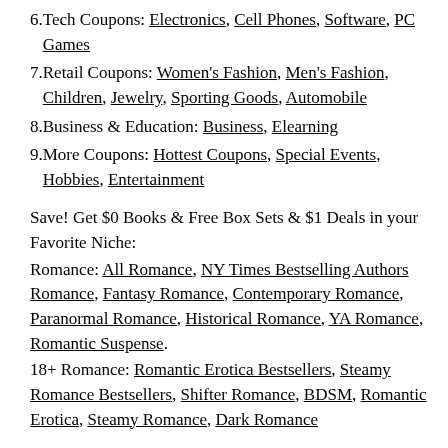6. Tech Coupons: Electronics, Cell Phones, Software, PC Games
7. Retail Coupons: Women's Fashion, Men's Fashion, Children, Jewelry, Sporting Goods, Automobile
8. Business & Education: Business, Elearning
9. More Coupons: Hottest Coupons, Special Events, Hobbies, Entertainment
Save! Get $0 Books & Free Box Sets & $1 Deals in your Favorite Niche:
Romance: All Romance, NY Times Bestselling Authors Romance, Fantasy Romance, Contemporary Romance, Paranormal Romance, Historical Romance, YA Romance, Romantic Suspense.
18+ Romance: Romantic Erotica Bestsellers, Steamy Romance Bestsellers, Shifter Romance, BDSM, Romantic Erotica, Steamy Romance, Dark Romance